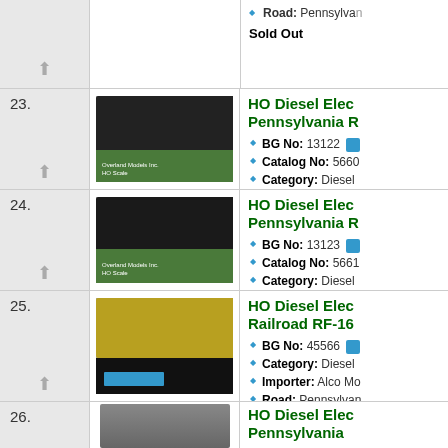Road: Pennsylvania
Sold Out
23.
[Figure (photo): HO Diesel Electric locomotive model Pennsylvania, item 23]
HO Diesel Elec Pennsylvania
BG No: 13122
Catalog No: 5660
Category: Diesel
Importer: Overlan
Road: Pennsylvan
Sold Out
24.
[Figure (photo): HO Diesel Electric locomotive model Pennsylvania, item 24]
HO Diesel Elec Pennsylvania
BG No: 13123
Catalog No: 5661
Category: Diesel
Importer: Overlan
Road: Pennsylvan
Sold Out
25.
[Figure (photo): HO Diesel Electric locomotive model Pennsylvania Railroad RF-16, item 25]
HO Diesel Elec Railroad RF-16
BG No: 45566
Category: Diesel
Importer: Alco Mo
Road: Pennsylvan
In Stock
26.
HO Diesel Elec Pennsylvania